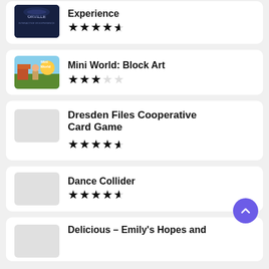Experience ★★★★½
Mini World: Block Art ★★★☆☆
Dresden Files Cooperative Card Game ★★★★½
Dance Collider ★★★★½
Delicious – Emily's Hopes and...